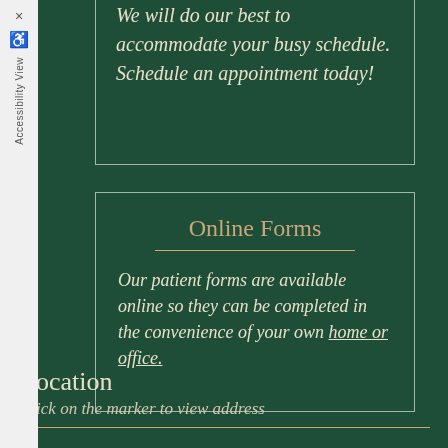We will do our best to accommodate your busy schedule. Schedule an appointment today!
Online Forms
Our patient forms are available online so they can be completed in the convenience of your own home or office.
Location
Click on the marker to view address